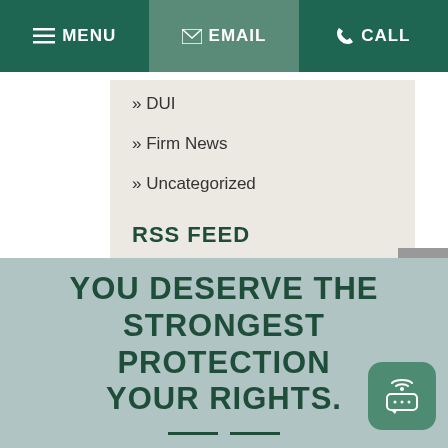≡ MENU  ✉ EMAIL  ✆ CALL
» DUI
» Firm News
» Uncategorized
RSS FEED
Subscribe To This Blog's Feed
YOU DESERVE THE STRONGEST PROTECTION YOUR RIGHTS.